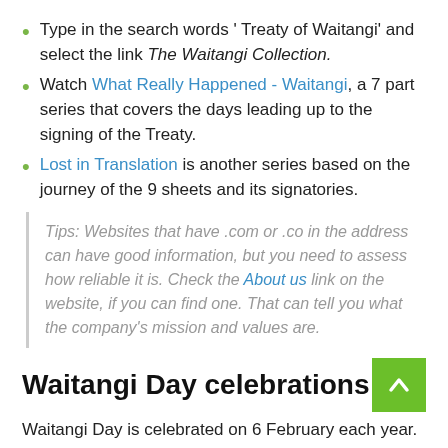Type in the search words ' Treaty of Waitangi' and select the link The Waitangi Collection.
Watch What Really Happened - Waitangi, a 7 part series that covers the days leading up to the signing of the Treaty.
Lost in Translation is another series based on the journey of the 9 sheets and its signatories.
Tips: Websites that have .com or .co in the address can have good information, but you need to assess how reliable it is. Check the About us link on the website, if you can find one. That can tell you what the company's mission and values are.
Waitangi Day celebrations
Waitangi Day is celebrated on 6 February each year. This is